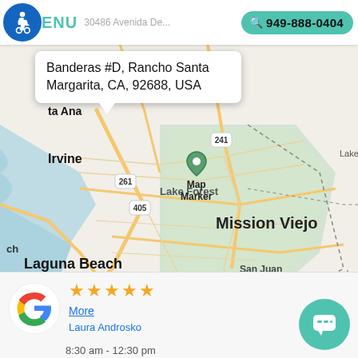[Figure (screenshot): Mobile website header with wheelchair accessibility icon, MENU text, partial address bar showing '30486 Avenida De...', and teal phone pill button showing '949-888-0404']
[Figure (map): Google Maps view of South Orange County California showing Irvine, Lake Forest, Mission Viejo, Laguna Beach, San Juan Capistrano, Dana Point areas. An address popup shows 'Banderas #D, Rancho Santa Margarita, CA, 92688, USA' with a Map Marker label.]
[Figure (screenshot): Google review card at bottom with Google logo, 4 gold stars, 'More' link in blue, reviewer name 'Laura Androsko', and partial time text '8:30 am - 12:30 pm'. A teal circular chat button is in the bottom right.]